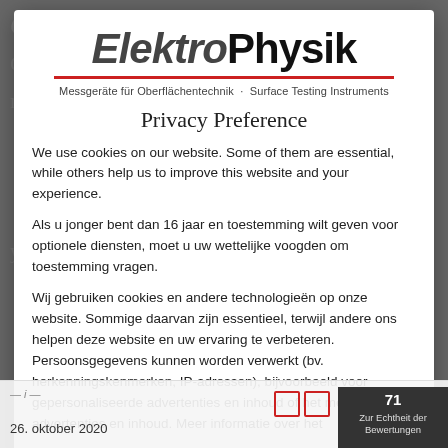[Figure (logo): ElektroPhysik logo with red divider line and subtitle 'Messgeräte für Oberflächentechnik · Surface Testing Instruments']
Privacy Preference
We use cookies on our website. Some of them are essential, while others help us to improve this website and your experience.
Als u jonger bent dan 16 jaar en toestemming wilt geven voor optionele diensten, moet u uw wettelijke voogden om toestemming vragen.
Wij gebruiken cookies en andere technologieën op onze website. Sommige daarvan zijn essentieel, terwijl andere ons helpen deze website en uw ervaring te verbeteren. Persoonsgegevens kunnen worden verwerkt (bv. herkenningskenmerken, IP-adressen), bijvoorbeeld voor gepersonaliseerde advertenties en inhoud of het meten van advertenties en inhoud. Meer informatie over het
26. oktober 2020
71 Zur Echtheit der Bewertungen